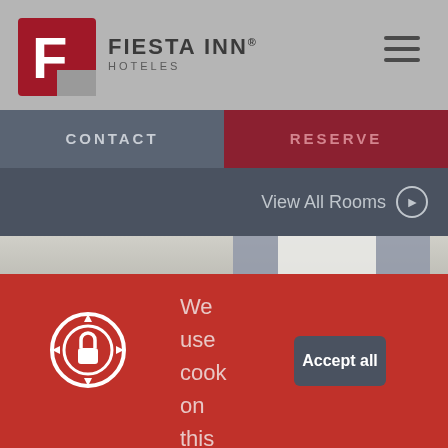[Figure (logo): Fiesta Inn Hoteles logo with red F icon and hotel name]
CONTACT   RESERVE
View All Rooms
[Figure (photo): Hotel room interior photo showing curtains and window]
We use cook on this site
Accept all